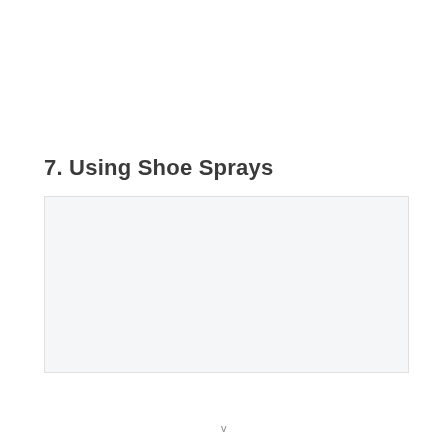7. Using Shoe Sprays
[Figure (other): Light gray placeholder image/content box below the section header]
v